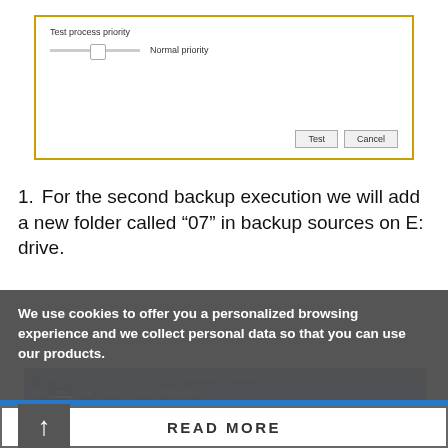[Figure (screenshot): Dialog box with yellow/gold border showing 'Test process priority' label, a slider set to 'Normal priority', and two buttons: 'Test' and 'Cancel']
For the second backup execution we will add a new folder called “07” in backup sources on E: drive.
[Figure (screenshot): BackupMail application window showing the ribbon interface with tabs (Home, Tags, Layout, Control, Explorer View) and toolbar icons, with a list area showing backup jobs with columns for Name, Status, Last Backup Date, Type, Execution Order]
We use cookies to offer you a personalized browsing experience and we collect personal data so that you can use our products.
I AGREE
READ MORE